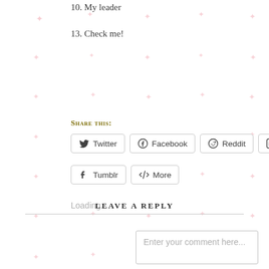10. My leader
13. Check me!
Share this:
Twitter | Facebook | Reddit | LinkedIn | Tumblr | More
Loading...
LEAVE A REPLY
Enter your comment here...